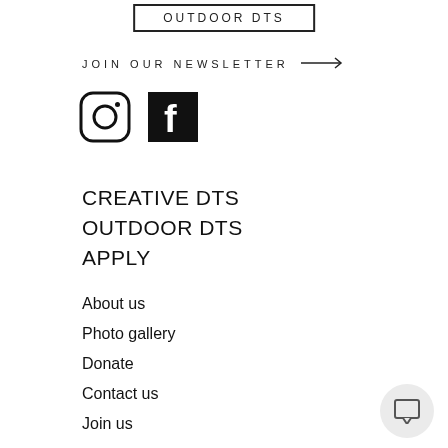OUTDOOR DTS
JOIN OUR NEWSLETTER →
[Figure (logo): Instagram and Facebook social media icons]
CREATIVE DTS
OUTDOOR DTS
APPLY
About us
Photo gallery
Donate
Contact us
Join us
[Figure (illustration): Chat/comment bubble icon button in bottom right corner]